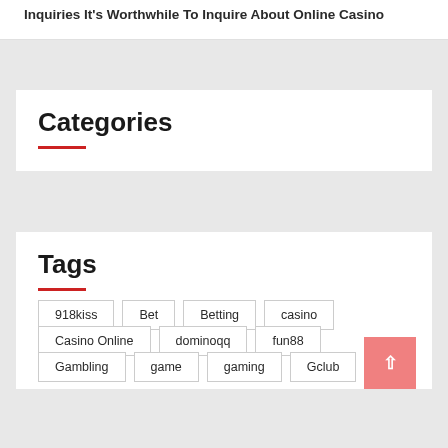Inquiries It's Worthwhile To Inquire About Online Casino
Categories
Tags
918kiss
Bet
Betting
casino
Casino Online
dominoqq
fun88
Gambling
game
gaming
Gclub